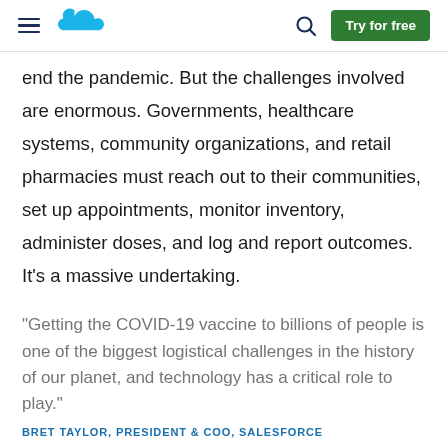Salesforce navigation bar with hamburger menu, cloud logo, search icon, and Try for free button
end the pandemic. But the challenges involved are enormous. Governments, healthcare systems, community organizations, and retail pharmacies must reach out to their communities, set up appointments, monitor inventory, administer doses, and log and report outcomes. It’s a massive undertaking.
“Getting the COVID-19 vaccine to billions of people is one of the biggest logistical challenges in the history of our planet, and technology has a critical role to play.”
BRET TAYLOR, PRESIDENT & COO, SALESFORCE
One common stumbling block: Many organizations still use